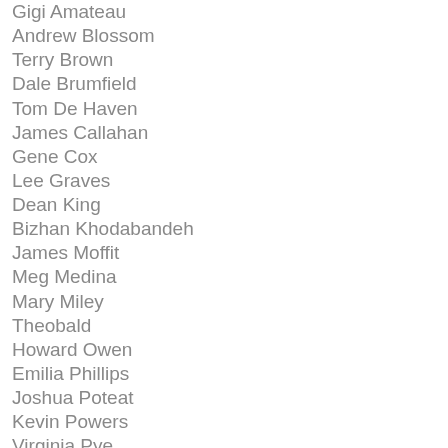Gigi Amateau
Andrew Blossom
Terry Brown
Dale Brumfield
Tom De Haven
James Callahan
Gene Cox
Lee Graves
Dean King
Bizhan Khodabandeh
James Moffit
Meg Medina
Mary Miley
Theobald
Howard Owen
Emilia Phillips
Joshua Poteat
Kevin Powers
Virginia Pye
Ian Sampson
Noah Scalin
Jon Sealy
Allison S...